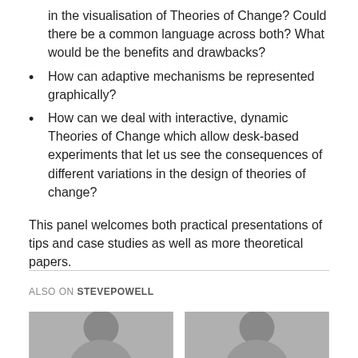in the visualisation of Theories of Change? Could there be a common language across both? What would be the benefits and drawbacks?
How can adaptive mechanisms be represented graphically?
How can we deal with interactive, dynamic Theories of Change which allow desk-based experiments that let us see the consequences of different variations in the design of theories of change?
This panel welcomes both practical presentations of tips and case studies as well as more theoretical papers.
ALSO ON STEVEPOWELL
[Figure (photo): Partial photo of a person's face, cropped, used as thumbnail]
[Figure (photo): Partial photo of a person's face, cropped, used as thumbnail]